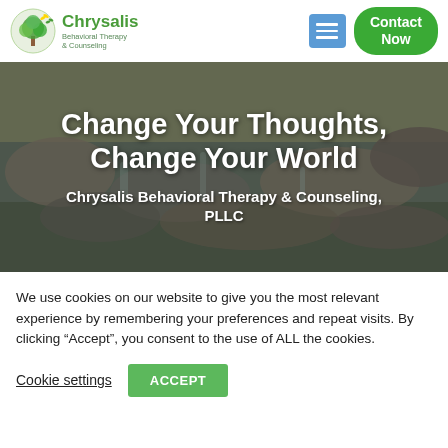[Figure (logo): Chrysalis Behavioral Therapy & Counseling logo with tree icon]
Change Your Thoughts, Change Your World
Chrysalis Behavioral Therapy & Counseling, PLLC
We use cookies on our website to give you the most relevant experience by remembering your preferences and repeat visits. By clicking “Accept”, you consent to the use of ALL the cookies.
Cookie settings
ACCEPT